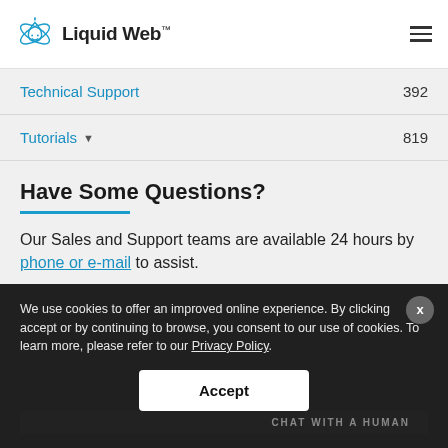Liquid Web™
Technical Support  392
Tutorials  819
Have Some Questions?
Our Sales and Support teams are available 24 hours by phone or e-mail to assist.
We use cookies to offer an improved online experience. By clicking accept or by continuing to browse, you consent to our use of cookies. To learn more, please refer to our Privacy Policy.
Accept
CHAT WITH A HUMAN